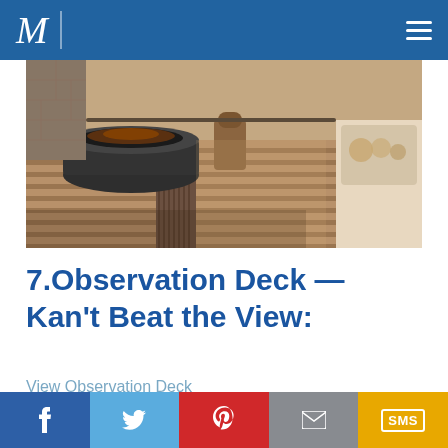M (logo) — navigation header with hamburger menu
[Figure (photo): Outdoor deck with composite wood planks, a round dark fire pit table in center-left, a wicker stool in background, and cushions/seating on the right. Warm natural lighting.]
7.Observation Deck — Kan't Beat the View:
View Observation Deck
f  (Twitter bird)  (Pinterest P)  (envelope)  SMS — social share bar